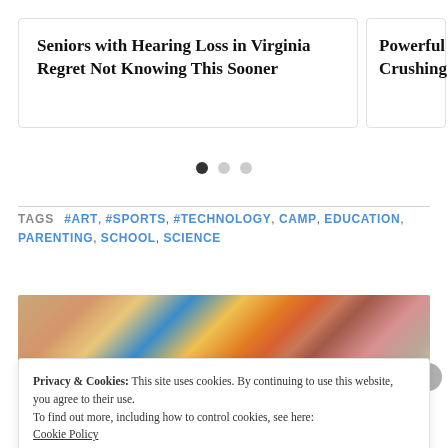Seniors with Hearing Loss in Virginia Regret Not Knowing This Sooner
Powerful Crushing
TAGS  #ART, #SPORTS, #TECHNOLOGY, CAMP, EDUCATION, PARENTING, SCHOOL, SCIENCE
[Figure (photo): Group of students studying together, photo partially visible]
Privacy & Cookies: This site uses cookies. By continuing to use this website, you agree to their use.
To find out more, including how to control cookies, see here:
Cookie Policy
Close and accept